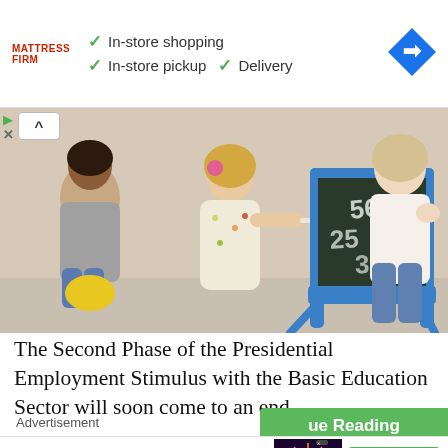[Figure (infographic): Mattress Firm advertisement banner showing logo, checkmarks for 'In-store shopping', 'In-store pickup', 'Delivery', and a blue navigation icon]
[Figure (photo): A young girl writing numbers on a small chalkboard easel while two adult women watch in an educational setting]
The Second Phase of the Presidential Employment Stimulus with the Basic Education Sector will soon come to an end.
Advertisement
[Figure (infographic): Shot Left advertisement with 'It's Time to Explore Your Country' text, Tell Me More button, and a fireworks image]